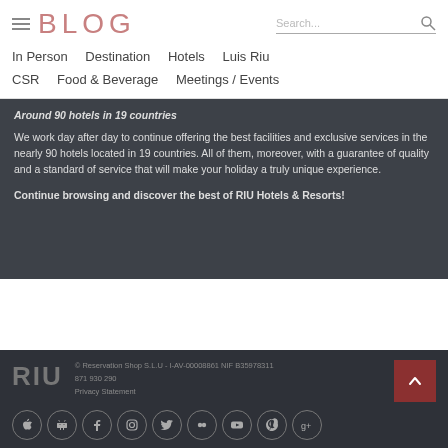BLOG | Search...
In Person  Destination  Hotels  Luis Riu  CSR  Food & Beverage  Meetings / Events
Around 90 hotels in 19 countries
We work day after day to continue offering the best facilities and exclusive services in the nearly 90 hotels located in 19 countries. All of them, moreover, with a guarantee of quality and a standard of service that will make your holiday a truly unique experience.
Continue browsing and discover the best of RIU Hotels & Resorts!
RIU  © Reservation Shop S.L.U - I-AV-00008861 NIF B35978311  871 930 290  Privacy Statement